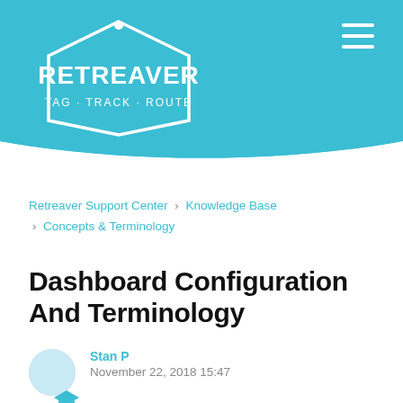[Figure (logo): Retreaver logo: hexagon badge outline with text RETREAVER and TAG · TRACK · ROUTE, white on teal background]
Retreaver Support Center › Knowledge Base › Concepts & Terminology
Dashboard Configuration And Terminology
Stan P
November 22, 2018 15:47